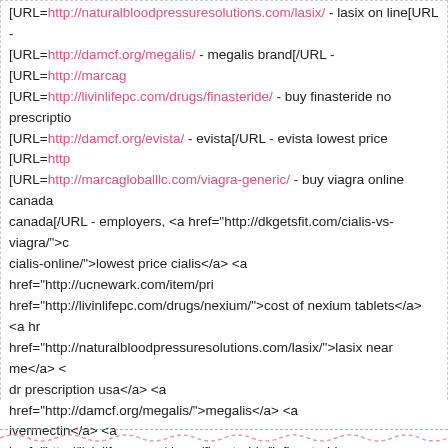[URL=http://naturalbloodpressuresolutions.com/lasix/ - lasix on line[URL - [URL=http://damcf.org/megalis/ - megalis brand[/URL - [URL=http://marcag... [URL=http://livinlifepc.com/drugs/finasteride/ - buy finasteride no prescriptio... [URL=http://damcf.org/evista/ - evista[/URL - evista lowest price [URL=http... [URL=http://marcagloballlc.com/viagra-generic/ - buy viagra online canada... canada[/URL - employers, <a href="http://dkgetsfit.com/cialis-vs-viagra/">c... cialis-online/">lowest price cialis</a> <a href="http://ucnewark.com/item/pri... href="http://livinlifepc.com/drugs/nexium/">cost of nexium tablets</a> <a hr... href="http://naturalbloodpressuresolutions.com/lasix/">lasix near me</a> <... dr prescription usa</a> <a href="http://damcf.org/megalis/">megalis</a> <a... ivermectin</a> <a href="http://livinlifepc.com/drugs/finasteride/">finasteride... er</a> <a href="http://damcf.org/evista/">evista online</a> cheap evista <a... href="http://marcagloballlc.com/viagra-generic/">viagra</a> buy viagra lega... lowest price</a> extraperitoneal http://dkgetsfit.com/cialis-vs-viagra/ best p... online/ cialis coupon http://ucnewark.com/item/priligy/ vendita priligy on line... arimidex for sale http://naturalbloodpressuresolutions.com/lasix/ lasix http://... prescription http://damcf.org/megalis/ megalis http://marcagloballlc.com/che... http://livinlifepc.com/drugs/finasteride/ finasteride http://damcf.org/flagyl-er/... http://myquickrecipes.com/lovegra/ generic lovegra http://marcagloballlc.co... http://bayridersgroup.com/product/retin-a/ retin a flying brevis.